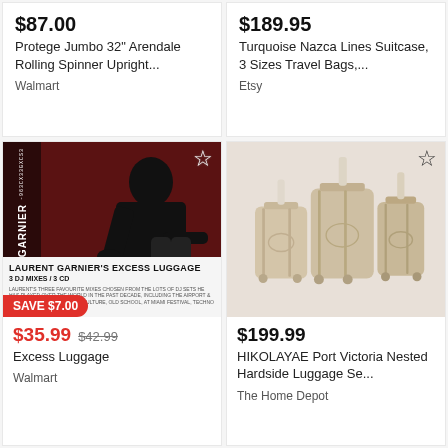$87.00
Protege Jumbo 32" Arendale Rolling Spinner Upright...
Walmart
$189.95
Turquoise Nazca Lines Suitcase, 3 Sizes Travel Bags,...
Etsy
[Figure (photo): Album cover for Laurent Garnier's Excess Luggage - 3 DJ Mixes/3 CD, showing a person leaning on their hand, with a red background and white product info box at bottom. SAVE $7.00 badge in red.]
$35.99  $42.99
Excess Luggage
Walmart
[Figure (photo): Three beige/champagne hardside luggage pieces of different sizes (nested set), with spinner wheels and silver handles, on white/light background.]
$199.99
HIKOLAYAE Port Victoria Nested Hardside Luggage Se...
The Home Depot